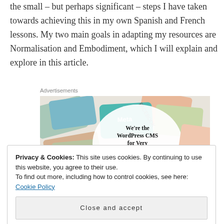the small – but perhaps significant – steps I have taken towards achieving this in my own Spanish and French lessons. My two main goals in adapting my resources are Normalisation and Embodiment, which I will explain and explore in this article.
Advertisements
[Figure (illustration): Advertisement image showing social media brand cards (Meta, Facebook, etc.) with text 'We're the WordPress CMS for Very Important Content']
Privacy & Cookies: This site uses cookies. By continuing to use this website, you agree to their use.
To find out more, including how to control cookies, see here: Cookie Policy
Close and accept